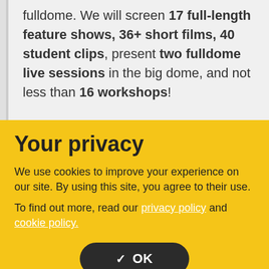fulldome. We will screen 17 full-length feature shows, 36+ short films, 40 student clips, present two fulldome live sessions in the big dome, and not less than 16 workshops!
Your privacy
We use cookies to improve your experience on our site. By using this site, you agree to their use.
To find out more, read our privacy policy and cookie policy.